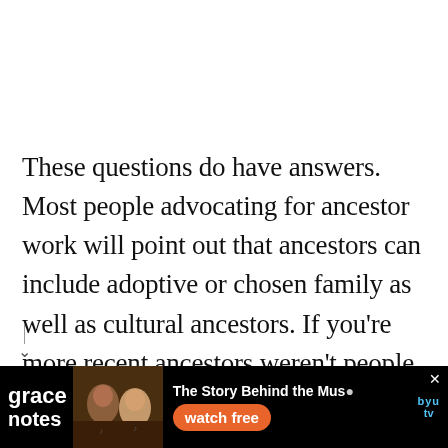These questions do have answers. Most people advocating for ancestor work will point out that ancestors can include adoptive or chosen family as well as cultural ancestors. If you're more recent ancestors weren't people you got along with, reach out to the older ancestors. Sometimes ancestor work is
[Figure (screenshot): Advertisement banner for 'grace notes' show on BYU tv. Features text 'The Story Behind the Music' and 'watch free' button, with images of musicians.]